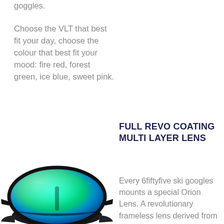goggles.
Choose the VLT that best fit your day, choose the colour that best fit your mood: fire red, forest green, ice blue, sweet pink.
FULL REVO COATING MULTI LAYER LENS
Every 6fiftyfive ski googles mounts a special Orion Lens. A revolutionary frameless lens derived from NASA
[Figure (photo): Ski goggle with green/teal revo mirror coating lens, viewed from front-bottom angle, showing the curved frameless lens and black frame bottom]